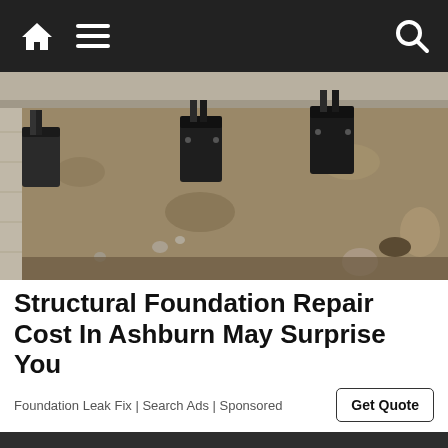Navigation bar with home icon, menu icon, and search icon
[Figure (photo): Aerial/top-down view of a foundation repair excavation site showing black steel helical pier brackets installed along a concrete foundation wall, with exposed dirt and rocks in the trench below]
Structural Foundation Repair Cost In Ashburn May Surprise You
Foundation Leak Fix | Search Ads | Sponsored
Get Quote
We use cookies to ensure that we give you the best experience on our website. If you continue to use this site we will assume that you are happy with it.
Ok